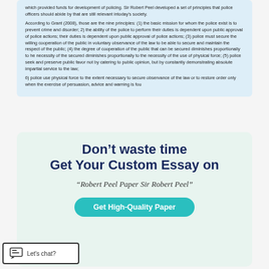which provided funds for development of policing. Sir Robert Peel developed a set of principles that police officers should abide by that are still relevant intoday’s society.
According to Grant (2008), those are the nine principles: (1) the basic mission for whom the police exist is to prevent crime and disorder; 2) the ability of the police to perform their duties is dependent upon public approval of police actions; their duties is dependent upon public approval of police actions; (3) police must secure the willing cooperation of the public in voluntary observance of the law to be able to secure and maintain the respect of the public; (4) the degree of cooperation of the public that can be secured diminishes proportionally to he necessity of the secured diminishes proportionally to the necessity of the use of physical force; (5) police seek and preserve public favor not by catering to public opinion, but by constantly demonstrating absolute impartial service to the law;
6) police use physical force to the extent necessary to secure observance of the law or to restore order only when the exercise of persuasion, advice and warning is fou
Don’t waste time Get Your Custom Essay on
“Robert Peel Paper Sir Robert Peel”
Get High-Quality Paper
Let's chat?